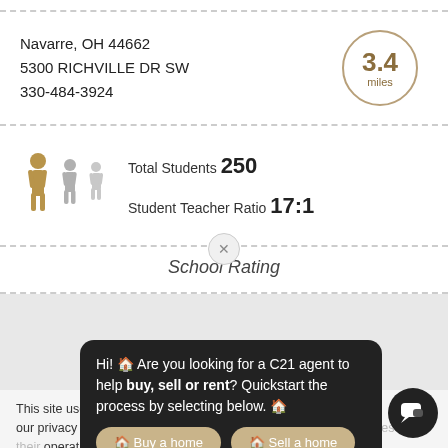Navarre, OH 44662
5300 RICHVILLE DR SW
330-484-3924
[Figure (infographic): Circle with '3.4 miles' text in gold/brown color]
[Figure (infographic): Three person silhouette icons, one gold and two gray, representing student/teacher ratio]
Total Students 250
Student Teacher Ratio 17:1
School Rating
This site uses coo... described in our privacy policy. ... operation, analytics, enhanced... you may choose to consent t... of these technologies or manage your own preferen...
[Figure (screenshot): Chat popup bubble: Hi! Are you looking for a C21 agent to help buy, sell or rent? Quickstart the process by selecting below. With buttons: Buy a home, Sell a home, Rent a home]
[Figure (infographic): Dark circle chat icon button at bottom right]